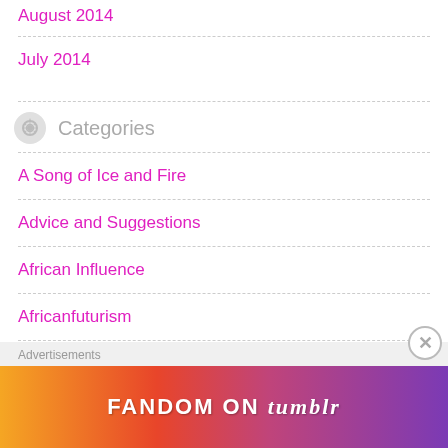August 2014
July 2014
Categories
A Song of Ice and Fire
Advice and Suggestions
African Influence
Africanfuturism
Afrofuturism
Advertisements
[Figure (other): Fandom on Tumblr advertisement banner with colorful gradient background]